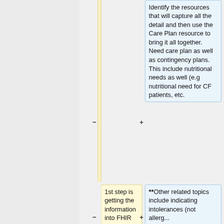Identify the resources that will capture all the detail and then use the Care Plan resource to bring it all together. Need care plan as well as contingency plans. This include nutritional needs as well (e.g nutritional need for CF patients, etc.
1st step is getting the information into FHIR resources - looking for that...
**Other related topics include indicating intolerances (not allergies...